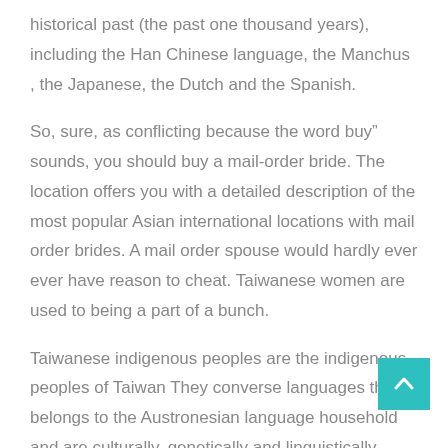historical past (the past one thousand years), including the Han Chinese language, the Manchus , the Japanese, the Dutch and the Spanish.
So, sure, as conflicting because the word buy" sounds, you should buy a mail-order bride. The location offers you with a detailed description of the most popular Asian international locations with mail order brides. A mail order spouse would hardly ever ever have reason to cheat. Taiwanese women are used to being a part of a bunch.
Taiwanese indigenous peoples are the indigenous peoples of Taiwan They converse languages that belongs to the Austronesian language household and are culturally, genetically and linguistically